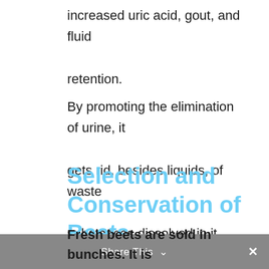increased uric acid, gout, and fluid retention.
By promoting the elimination of urine, it gets rid, besides liquids, of waste substances dissolved in it.
Selection and Conservation of Beets
Share This ×
Fresh beets are sold in bunches. It is